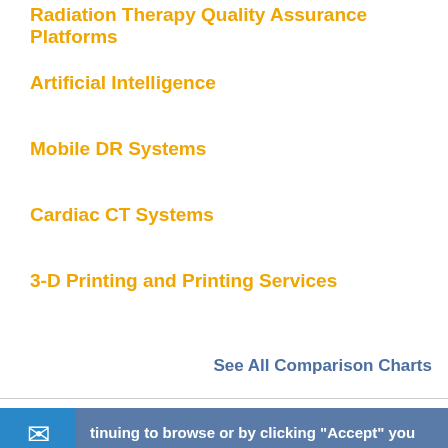Radiation Therapy Quality Assurance Platforms
Artificial Intelligence
Mobile DR Systems
Cardiac CT Systems
3-D Printing and Printing Services
See All Comparison Charts
tinuing to browse or by clicking “Accept” you agree to the storing of s on your device to enhance your site experience and for analytical arketing purposes.
n more about how we use cookies, please see our cookie policy.
agree
No, thanks